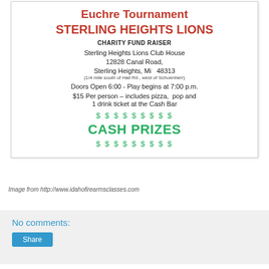Euchre Tournament
STERLING HEIGHTS LIONS
CHARITY FUND RAISER
Sterling Heights Lions Club House
12828 Canal Road,
Sterling Heights, Mi  48313
(1/4 mile south of Hall Rd., west of Schoenherr)
Doors Open 6:00 - Play begins at 7:00 p.m.
$15 Per person – includes pizza,  pop and
1 drink ticket at the Cash Bar
$ $ $ $ $ $ $ $ $
CASH PRIZES
$ $ $ $ $ $ $ $ $
Image from http://www.idahofirearmsclasses.com
No comments:
Share